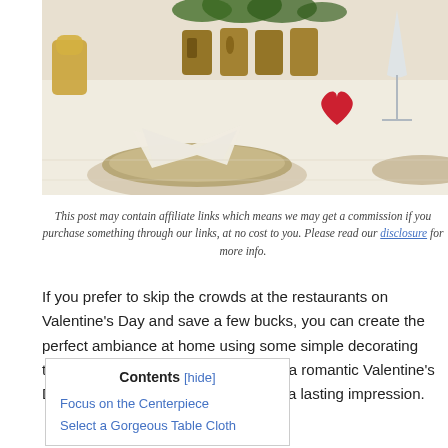[Figure (photo): A romantic Valentine's Day table setting with wooden 'LOVE' letters, folded white napkins on rustic plates, a red heart decoration, and a champagne glass in the background.]
This post may contain affiliate links which means we may get a commission if you purchase something through our links, at no cost to you. Please read our disclosure for more info.
If you prefer to skip the crowds at the restaurants on Valentine's Day and save a few bucks, you can create the perfect ambiance at home using some simple decorating tips. Check out these ideas to create a romantic Valentine's Day tablescape that will surely leave a lasting impression.
Contents [hide]
Focus on the Centerpiece
Select a Gorgeous Table Cloth